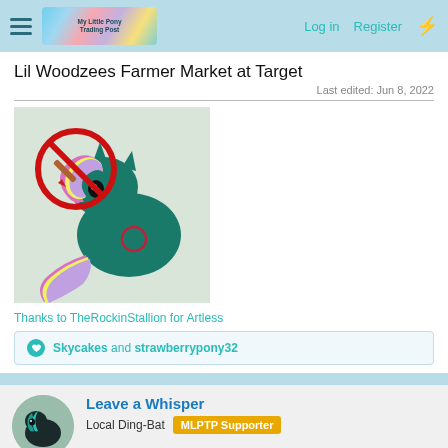Log in  Register
Lil Woodzees Farmer Market at Target
Last edited: Jun 8, 2022
[Figure (illustration): A teal My Little Pony unicorn with pink and yellow mane and tail, overlaid with a no-smoking/no-craft-tools prohibition sign (red circle with diagonal bar over a paintbrush/stylus). Background is light sage green.]
Thanks to TheRockinStallion for Artless
Skycakes and strawberrypony32
Leave a Whisper
Local Ding-Bat
MLPTP Supporter